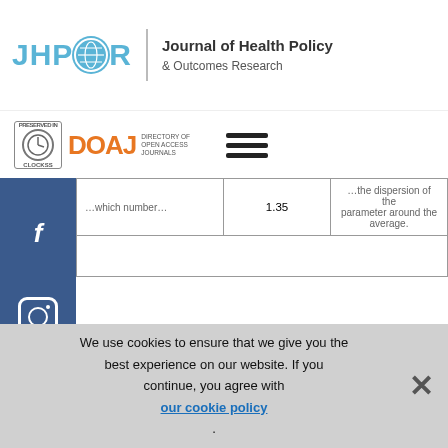JHPOR | Journal of Health Policy & Outcomes Research
[Figure (logo): CLOCKSS and DOAJ directory of open access journals badges, hamburger menu icon]
|  | 1.35 | dispersion of the parameter around the average. |
| --- | --- | --- |
|  |
an incremental health effect of sensitivity analysis is 0.082 QALY (95% CI 0.080-0.083), while the average incremental cost of therapy is 4,955.61 (95% CI 4,941-4,970), therefore ICER is 60.5 (95% CI 58.7) kPLN / QALY. Assuming the variability of the main structural factors of the model, both costs and health effects are characterized by exceptional stability, due to which the probability that the ICER is below the threshold is 95.5%.
We use cookies to ensure that we give you the best experience on our website. If you continue, you agree with our cookie policy.